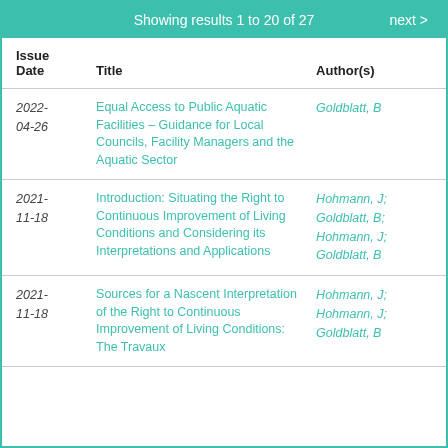Showing results 1 to 20 of 27   next >
| Issue Date | Title | Author(s) |
| --- | --- | --- |
| 2022-04-26 | Equal Access to Public Aquatic Facilities – Guidance for Local Councils, Facility Managers and the Aquatic Sector | Goldblatt, B |
| 2021-11-18 | Introduction: Situating the Right to Continuous Improvement of Living Conditions and Considering its Interpretations and Applications | Hohmann, J; Goldblatt, B; Hohmann, J; Goldblatt, B |
| 2021-11-18 | Sources for a Nascent Interpretation of the Right to Continuous Improvement of Living Conditions: The Travaux Préparatoires and the Works of ... | Hohmann, J; Hohmann, J; Goldblatt, B |